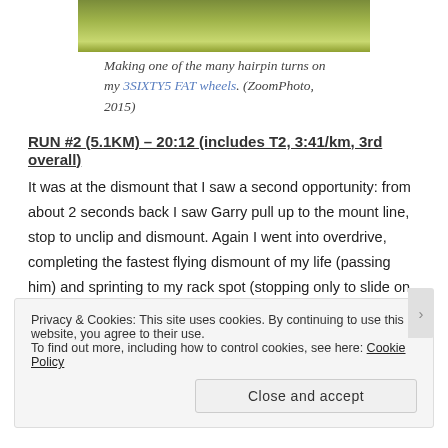[Figure (photo): Cropped photo showing green grass/field area, appears to be part of a race course hairpin turn scene.]
Making one of the many hairpin turns on my 3SIXTY5 FAT wheels. (ZoomPhoto, 2015)
RUN #2 (5.1KM) – 20:12 (includes T2, 3:41/km, 3rd overall)
It was at the dismount that I saw a second opportunity: from about 2 seconds back I saw Garry pull up to the mount line, stop to unclip and dismount. Again I went into overdrive, completing the fastest flying dismount of my life (passing him) and sprinting to my rack spot (stopping only to slide on my Skechers GOMeb Speed 3's) and then out of transition. This was my opening, and I put everything I had into taking it. I don't have an exact time on my first mile, but since I saw 3:25 as my average pace for about that distance it was likely under
Privacy & Cookies: This site uses cookies. By continuing to use this website, you agree to their use.
To find out more, including how to control cookies, see here: Cookie Policy

Close and accept